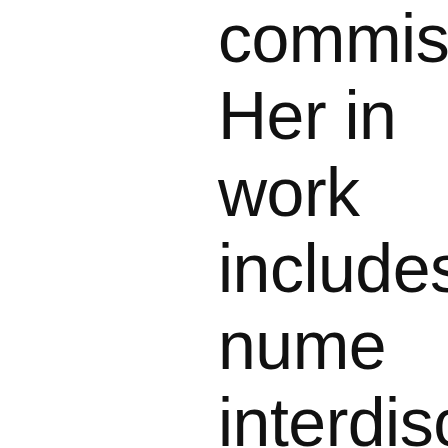commissions. Her in work includes nume interdisciplinary exh recently the inaugur Muzeum Susch. Re and contributed to s exhibition catalogue her texts in magazin Frieze, Mousse and